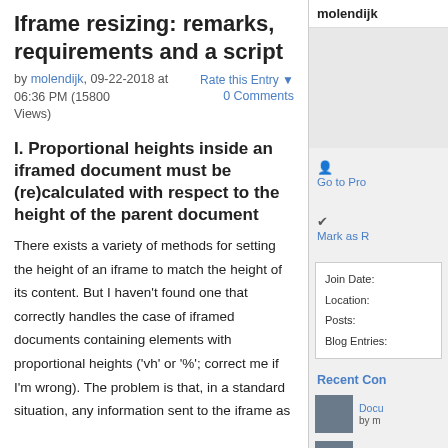Iframe resizing: remarks, requirements and a script
by molendijk, 09-22-2018 at 06:36 PM (15800 Views)
Rate this Entry ▼   0 Comments
I. Proportional heights inside an iframed document must be (re)calculated with respect to the height of the parent document
There exists a variety of methods for setting the height of an iframe to match the height of its content. But I haven't found one that correctly handles the case of iframed documents containing elements with proportional heights ('vh' or '%'; correct me if I'm wrong). The problem is that, in a standard situation, any information sent to the iframe as
molendijk
Go to Pro
Mark as R
Join Date:
Location:
Posts:
Blog Entries:
Recent Con
Docu by m
Sean by m
A Sir Fram